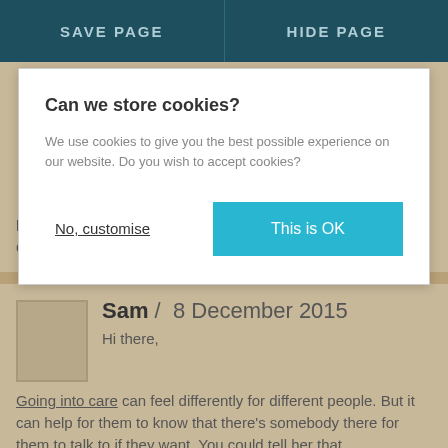SAVE PAGE  |  HIDE PAGE
[Figure (screenshot): Cookie consent modal dialog with title 'Can we store cookies?', body text, 'No, customise' link and 'This is OK' teal button]
help her without coming across as offensive as this is a difficult time for her. Thank you.
Sam /  8 December 2015
Hi there,

Going into care can feel differently for different people. But it can help for them to know that there's somebody there for them to talk to if they want. You could tell her that